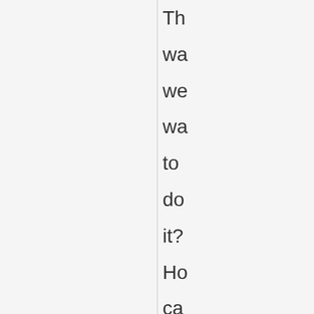Th wa we wa to do it? Ho ca we us the an to the qu to ge be at wh